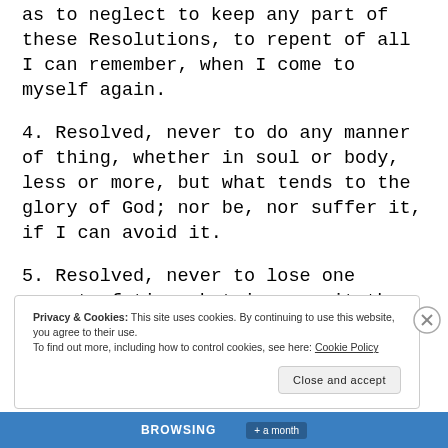as to neglect to keep any part of these Resolutions, to repent of all I can remember, when I come to myself again.
4. Resolved, never to do any manner of thing, whether in soul or body, less or more, but what tends to the glory of God; nor be, nor suffer it, if I can avoid it.
5. Resolved, never to lose one moment of time; but improve it the most profitable way I possibly can.
Privacy & Cookies: This site uses cookies. By continuing to use this website, you agree to their use.
To find out more, including how to control cookies, see here: Cookie Policy
Close and accept
BROWSING